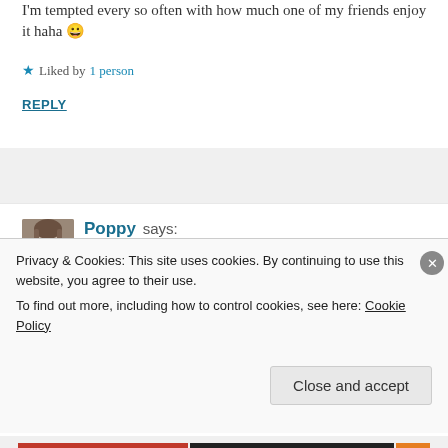I'm tempted every so often with how much one of my friends enjoy it haha 😀
★ Liked by 1 person
REPLY
[Figure (photo): Profile photo of commenter Poppy, a young woman with long blonde hair, in black and white/sepia tone]
Poppy says:
July 24, 2016 at 9:12 pm
Thanks! Yeah, people either seem to love or
Privacy & Cookies: This site uses cookies. By continuing to use this website, you agree to their use.
To find out more, including how to control cookies, see here: Cookie Policy